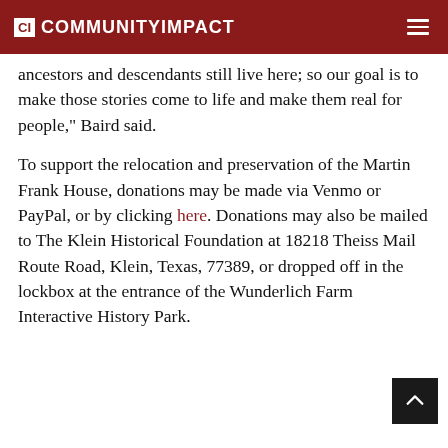CI COMMUNITYIMPACT
ancestors and descendants still live here; so our goal is to make those stories come to life and make them real for people," Baird said.
To support the relocation and preservation of the Martin Frank House, donations may be made via Venmo or PayPal, or by clicking here. Donations may also be mailed to The Klein Historical Foundation at 18218 Theiss Mail Route Road, Klein, Texas, 77389, or dropped off in the lockbox at the entrance of the Wunderlich Farm Interactive History Park.